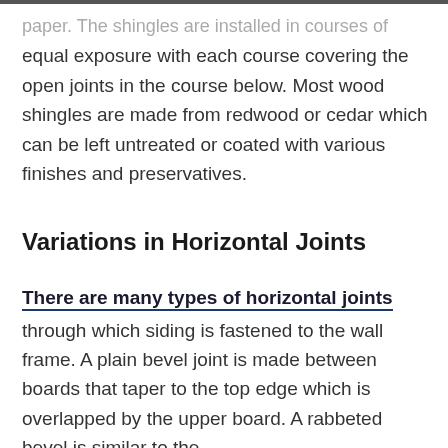paper. The shingles are installed in courses of equal exposure with each course covering the open joints in the course below. Most wood shingles are made from redwood or cedar which can be left untreated or coated with various finishes and preservatives.
Variations in Horizontal Joints
There are many types of horizontal joints through which siding is fastened to the wall frame. A plain bevel joint is made between boards that taper to the top edge which is overlapped by the upper board. A rabbeted bevel is similar to the